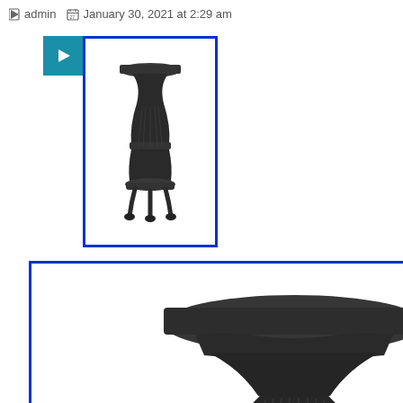admin  January 30, 2021 at 2:29 am
[Figure (photo): Small thumbnail image of a cast iron pot belly wood stove shown against white background, with blue border]
[Figure (photo): Large main product image of a cast iron pot belly wood stove (black/dark gray), ribbed barrel body, wide flared top, decorative legs, shown against white background. Watermark 'ebay' at bottom center. Blue border around image.]